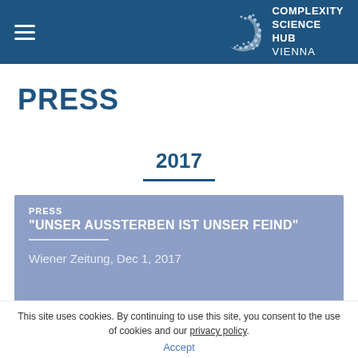Complexity Science Hub Vienna
PRESS
2017
PRESS
"UNSER AUSSTERBEN IST UNSER FEIND"
Wiener Zeitung, Dec 1, 2017
This site uses cookies. By continuing to use this site, you consent to the use of cookies and our privacy policy.
Accept